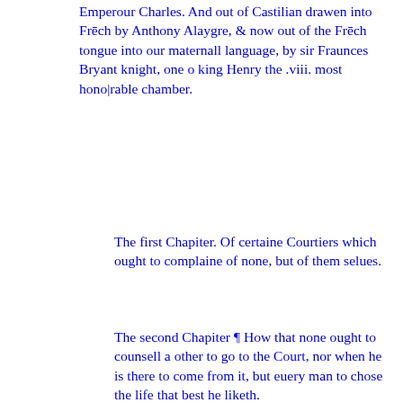Emperour Charles. And out of Castilian drawen into Frēch by Anthony Alaygre, & now out of the Frēch tongue into our maternall language, by sir Fraunces Bryant knight, one o king Henry the .viii. most hono|rable chamber.
The first Chapiter. Of certaine Courtiers which ought to complaine of none, but of them selues.
The second Chapiter ¶ How that none ought to counsell a other to go to the Court, nor when he is there to come from it, but euery man to chose the life that best he liketh.
The .iij. Chapiter. ¶How that a Courtier ought to leaue the Court for not beyng in fauor, but beyng out of the Court already that he ought not to seeke entertain|ment there againe that he may be more vertuous.
The .iiii. Chapiter. Of the life that the Courtier ought to leade, after that he hath lefte the Court.
The .v. Chapiter. ¶That the rusticall lyfe is more quiet and restfull and